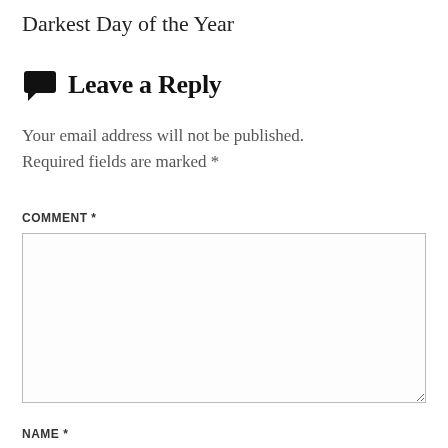Darkest Day of the Year
Leave a Reply
Your email address will not be published. Required fields are marked *
COMMENT *
NAME *